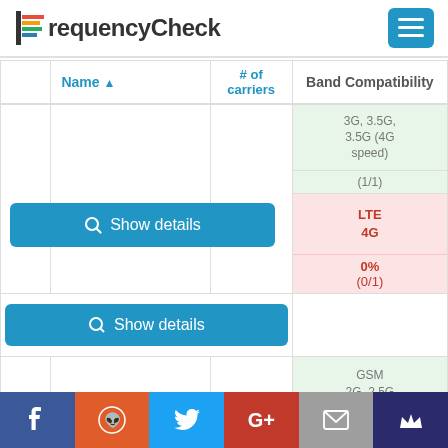FrequencyCheck
|  | Name ▲ | # of carriers | Band Compatibility |
| --- | --- | --- | --- |
|  |  |  | 3G, 3.5G, 3.5G (4G speed) | (1/1) |
|  |  |  | LTE 4G | 0% (0/1) |
| 🇧🇭 | Bahrain | 3 | GSM 2G, 2.5G | 100% (2/2) |
|  |  |  | UMTS 3G, 3.5G | 100% (1/1) |
Facebook | Reddit | Twitter | Google+ | Mail | Crown